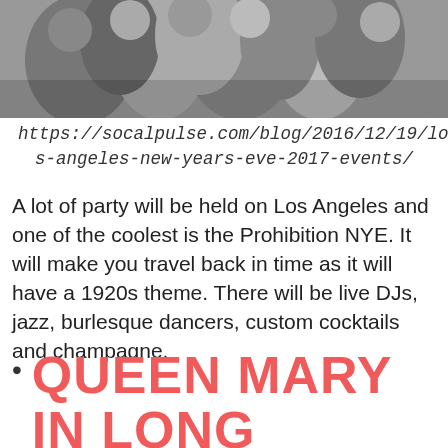[Figure (photo): Black and white photo of a crowd of people at a party or event, cropped at top]
https://socalpulse.com/blog/2016/12/19/los-angeles-new-years-eve-2017-events/
A lot of party will be held on Los Angeles and one of the coolest is the Prohibition NYE. It will make you travel back in time as it will have a 1920s theme. There will be live DJs, jazz, burlesque dancers, custom cocktails and champagne.
QUEEN MARY IN LONG BEACH